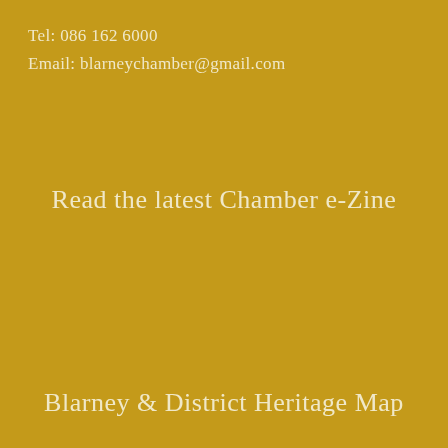Tel: 086 162 6000
Email: blarneychamber@gmail.com
Read the latest Chamber e-Zine
Blarney & District Heritage Map